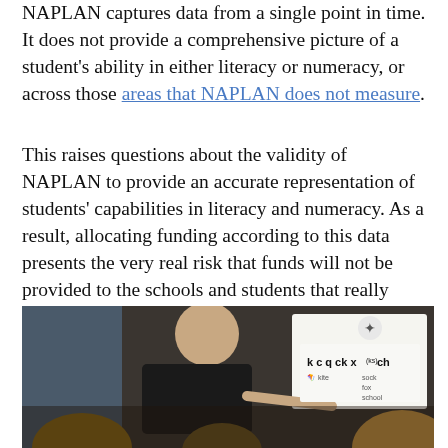NAPLAN captures data from a single point in time. It does not provide a comprehensive picture of a student's ability in either literacy or numeracy, or across those areas that NAPLAN does not measure.
This raises questions about the validity of NAPLAN to provide an accurate representation of students' capabilities in literacy and numeracy. As a result, allocating funding according to this data presents the very real risk that funds will not be provided to the schools and students that really need it.
[Figure (photo): A teacher pointing at an interactive whiteboard showing phonics content with letters k, c, q, ck, x(ks), ch and example words kite, sock, fox, school, with students in the foreground.]